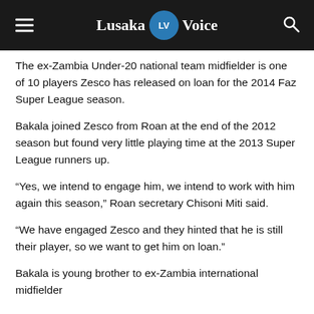Lusaka LV Voice
The ex-Zambia Under-20 national team midfielder is one of 10 players Zesco has released on loan for the 2014 Faz Super League season.
Bakala joined Zesco from Roan at the end of the 2012 season but found very little playing time at the 2013 Super League runners up.
“Yes, we intend to engage him, we intend to work with him again this season,” Roan secretary Chisoni Miti said.
“We have engaged Zesco and they hinted that he is still their player, so we want to get him on loan.”
Bakala is young brother to ex-Zambia international midfielder